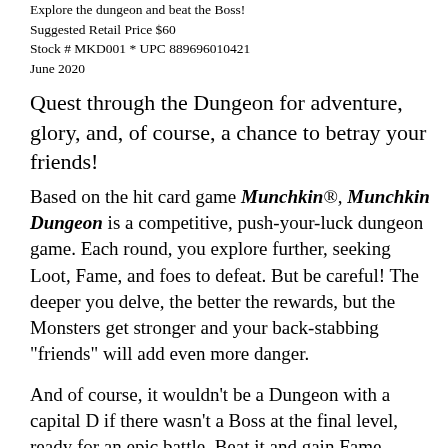Explore the dungeon and beat the Boss!
Suggested Retail Price $60
Stock # MKD001 * UPC 889696010421
June 2020
Quest through the Dungeon for adventure, glory, and, of course, a chance to betray your friends!
Based on the hit card game Munchkin®, Munchkin Dungeon is a competitive, push-your-luck dungeon game. Each round, you explore further, seeking Loot, Fame, and foes to defeat. But be careful! The deeper you delve, the better the rewards, but the Monsters get stronger and your back-stabbing "friends" will add even more danger.
And of course, it wouldn't be a Dungeon with a capital D if there wasn't a Boss at the final level, ready for an epic battle. Beat it and gain Fame. Lose,